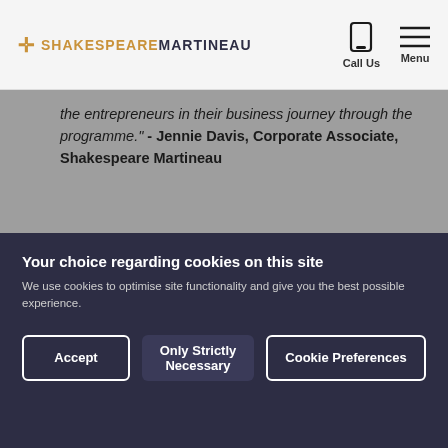Shakespeare Martineau — Call Us | Menu
the entrepreneurs in their business journey through the programme." - Jennie Davis, Corporate Associate, Shakespeare Martineau
Get In Contact
Jennie is a key member of our corporate team, providing advice to both private and public
Your choice regarding cookies on this site
We use cookies to optimise site functionality and give you the best possible experience.
Accept | Only Strictly Necessary | Cookie Preferences